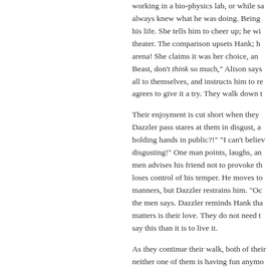working in a bio-physics lab, or while sa always knew what he was doing. Being his life. She tells him to cheer up; he wi theater. The comparison upsets Hank; h arena! She claims it was her choice, an Beast, don't think so much," Alison says all to themselves, and instructs him to re agrees to give it a try. They walk down t Their enjoyment is cut short when they Dazzler pass stares at them in disgust, a holding hands in public?!" "I can't believ disgusting!" One man points, laughs, an men advises his friend not to provoke th loses control of his temper. He moves to manners, but Dazzler restrains him. "Oc the men says. Dazzler reminds Hank tha matters is their love. They do not need t say this than it is to live it. As they continue their walk, both of their neither one of them is having fun anymo